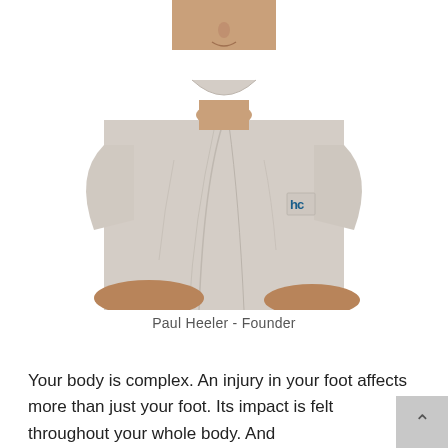[Figure (photo): Headshot of Paul Heeler, a middle-aged man wearing a light grey medical/clinical polo shirt with a blue 'hc' logo embroidered on the chest pocket, photographed against a white background.]
Paul Heeler - Founder
Your body is complex. An injury in your foot affects more than just your foot. Its impact is felt throughout your whole body. And